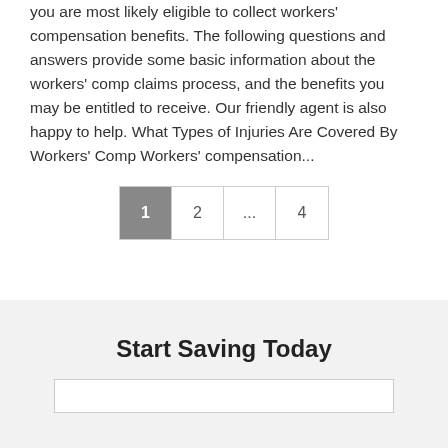you are most likely eligible to collect workers' compensation benefits. The following questions and answers provide some basic information about the workers' comp claims process, and the benefits you may be entitled to receive. Our friendly agent is also happy to help. What Types of Injuries Are Covered By Workers' Comp Workers' compensation...
Pagination: 1 (active), 2, ..., 4
Start Saving Today